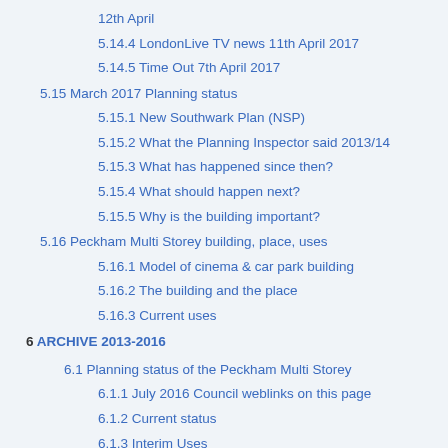12th April
5.14.4 LondonLive TV news 11th April 2017
5.14.5 Time Out 7th April 2017
5.15 March 2017 Planning status
5.15.1 New Southwark Plan (NSP)
5.15.2 What the Planning Inspector said 2013/14
5.15.3 What has happened since then?
5.15.4 What should happen next?
5.15.5 Why is the building important?
5.16 Peckham Multi Storey building, place, uses
5.16.1 Model of cinema & car park building
5.16.2 The building and the place
5.16.3 Current uses
6 ARCHIVE 2013-2016
6.1 Planning status of the Peckham Multi Storey
6.1.1 July 2016 Council weblinks on this page
6.1.2 Current status
6.1.3 Interim Uses
6.1.4 Long Term plans